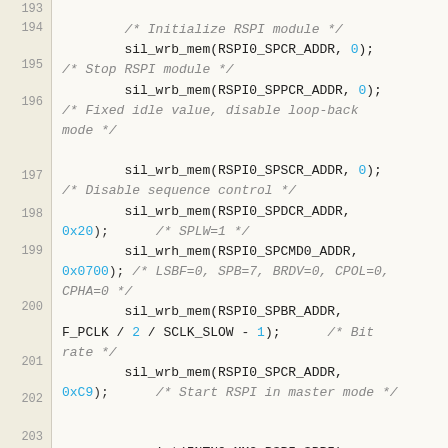[Figure (screenshot): Source code listing showing C code for initializing RSPI module, lines 193-207. Line numbers in left gutter on beige background, code on light cream background. Comments in gray italic, numeric literals in cyan/teal, regular code in dark monospace font.]